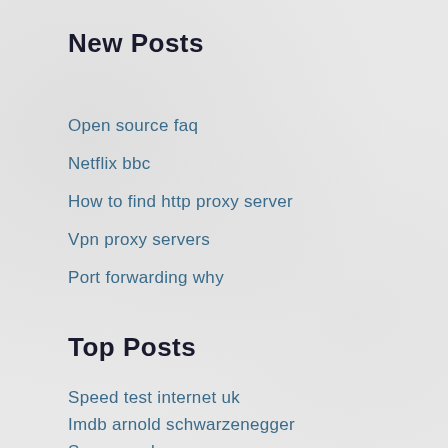New Posts
Open source faq
Netflix bbc
How to find http proxy server
Vpn proxy servers
Port forwarding why
Top Posts
Speed test internet uk
Imdb arnold schwarzenegger
Secure webcam
Open source vpn client mac